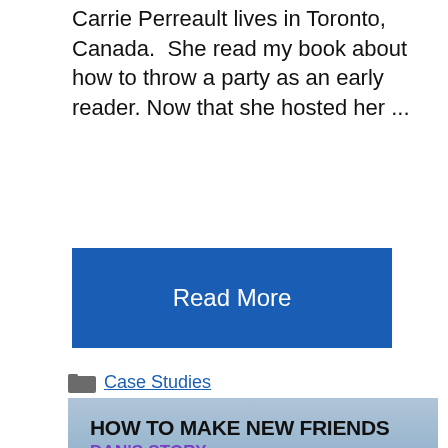Carrie Perreault lives in Toronto, Canada. She read my book about how to throw a party as an early reader. Now that she hosted her ...
Read More
Case Studies
[Figure (photo): Promotional image with text 'HOW TO MAKE NEW FRIENDS / DAN'S STORY' overlaid on a photo of a family at the beach. Includes a circular avatar photo of a man with glasses on a yellow background.]